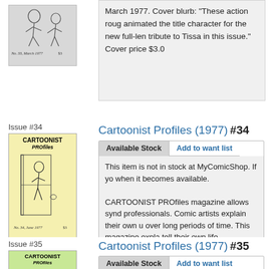[Figure (illustration): Partial cover of Cartoonist Profiles No. 33, March 1977, price $3, showing cartoon characters, top cropped]
March 1977. Cover blurb: "These action roughs animated the title character for the new full-length tribute to Tissa in this issue." Cover price $3.00
Issue #34
[Figure (illustration): Cover of Cartoonist Profiles No. 34, June 1977, price $3, yellow cover showing a cartoonist drawing at a desk]
Cartoonist Profiles (1977) #34
This item is not in stock at MyComicShop. If you would like to be notified when it becomes available.
CARTOONIST PROfiles magazine allows syndicated and non-syndicated professionals. Comic artists explain their own unique experiences developed over long periods of time. This magazine explains how comic artists who tell their own life experiences have enabled the
Issue #35
[Figure (illustration): Partial cover of Cartoonist Profiles No. 35, green cover, partially visible at bottom of page]
Cartoonist Profiles (1977) #35